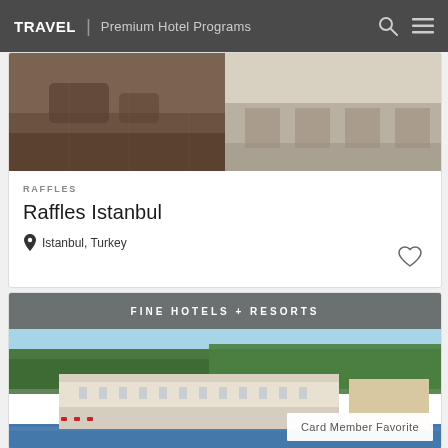TRAVEL | Premium Hotel Programs
[Figure (photo): Hotel interior photos - Raffles Istanbul]
RAFFLES
Raffles Istanbul
Istanbul, Turkey
FINE HOTELS + RESORTS
[Figure (photo): Exterior view of hotel on waterfront - Card Member Favorite]
Card Member Favorite